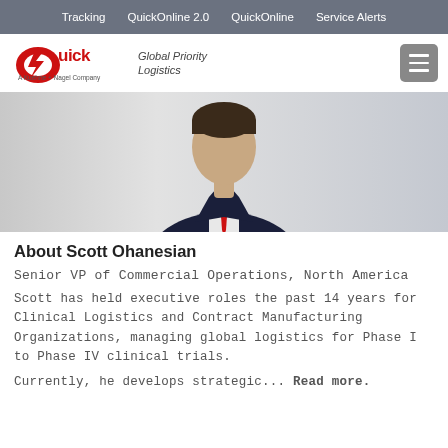Tracking  QuickOnline 2.0  QuickOnline  Service Alerts
[Figure (logo): Quick — A Kuehne + Nagel Company logo with red stylized Q and lightning bolt, with tagline Global Priority Logistics in italic]
[Figure (photo): Photo banner showing a man in a dark suit with a red tie, cropped to torso, against a light gray background]
About Scott Ohanesian
Senior VP of Commercial Operations, North America
Scott has held executive roles the past 14 years for Clinical Logistics and Contract Manufacturing Organizations, managing global logistics for Phase I to Phase IV clinical trials.
Currently, he develops strategic... Read more.